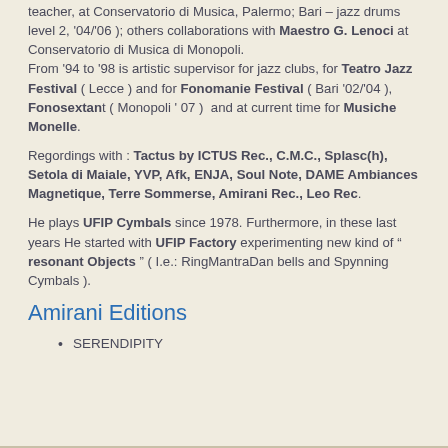teacher, at Conservatorio di Musica, Palermo; Bari – jazz drums level 2, '04/'06 ); others collaborations with Maestro G. Lenoci at Conservatorio di Musica di Monopoli.
From '94 to '98 is artistic supervisor for jazz clubs, for Teatro Jazz Festival ( Lecce ) and for Fonomanie Festival ( Bari '02/'04 ),  Fonosextan t ( Monopoli ' 07 )  and at current time for Musiche Monelle.
Regordings with : Tactus by ICTUS Rec., C.M.C., Splasc(h), Setola di Maiale, YVP, Afk, ENJA, Soul Note, DAME Ambiances Magnetique, Terre Sommerse, Amirani Rec., Leo Rec.
He plays UFIP Cymbals since 1978. Furthermore, in these last years He started with UFIP Factory experimenting new kind of " resonant Objects " ( I.e.: RingMantraDan bells and Spynning Cymbals ).
Amirani Editions
SERENDIPITY